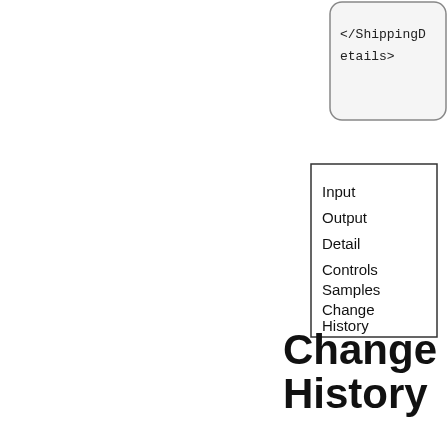[Figure (other): A rounded rectangle box containing code text: '</ShippingDetails>' split across two lines as '</ShippingD' and 'etails>']
[Figure (other): A rectangle box (table of contents / navigation list) containing items: Input, Output, Detail, Controls, Samples, Change, History]
Change History